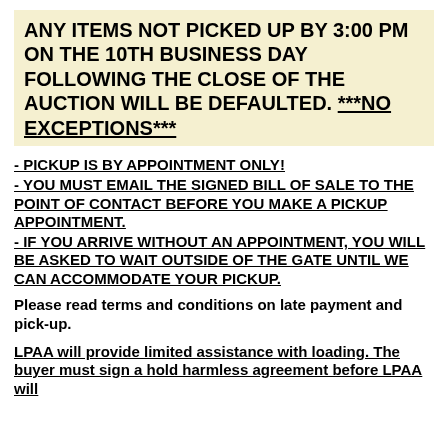ANY ITEMS NOT PICKED UP BY 3:00 PM ON THE 10TH BUSINESS DAY FOLLOWING THE CLOSE OF THE AUCTION WILL BE DEFAULTED. ***NO EXCEPTIONS***
- PICKUP IS BY APPOINTMENT ONLY!
- YOU MUST EMAIL THE SIGNED BILL OF SALE TO THE POINT OF CONTACT BEFORE YOU MAKE A PICKUP APPOINTMENT.
- IF YOU ARRIVE WITHOUT AN APPOINTMENT, YOU WILL BE ASKED TO WAIT OUTSIDE OF THE GATE UNTIL WE CAN ACCOMMODATE YOUR PICKUP.
Please read terms and conditions on late payment and pick-up.
LPAA will provide limited assistance with loading. The buyer must sign a hold harmless agreement before LPAA will